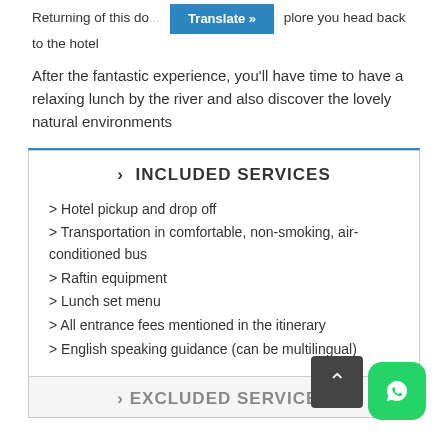Returning of this do... ...plore you head back to the hotel
After the fantastic experience, you'll have time to have a relaxing lunch by the river and also discover the lovely natural environments
> INCLUDED SERVICES
> Hotel pickup and drop off
> Transportation in comfortable, non-smoking, air-conditioned bus
> Raftin equipment
> Lunch set menu
> All entrance fees mentioned in the itinerary
> English speaking guidance (can be multilingual)
> EXCLUDED SERVICES